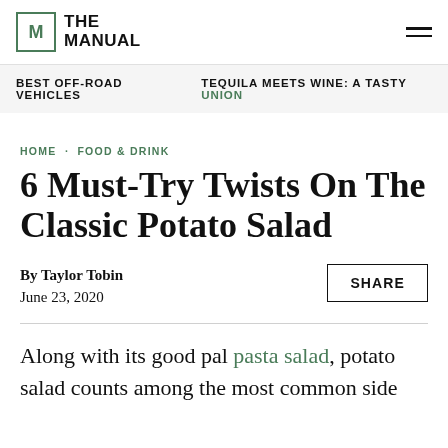THE MANUAL
BEST OFF-ROAD VEHICLES   TEQUILA MEETS WINE: A TASTY UNION
HOME · FOOD & DRINK
6 Must-Try Twists On The Classic Potato Salad
By Taylor Tobin
June 23, 2020
SHARE
Along with its good pal pasta salad, potato salad counts among the most common side